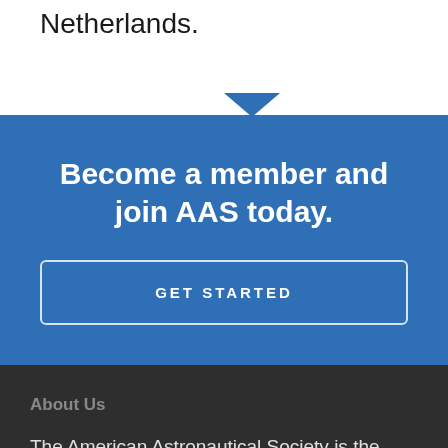Netherlands.
Become a member and join AAS today.
GET STARTED
About Us
The American Astronautical Society is the premier network of current and future space professionals dedicated to advancing all space activities.